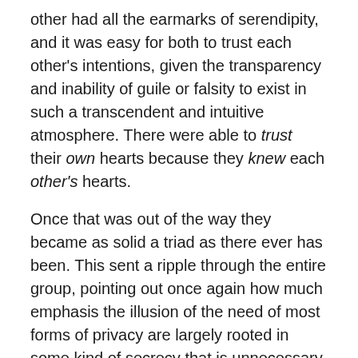other had all the earmarks of serendipity, and it was easy for both to trust each other's intentions, given the transparency and inability of guile or falsity to exist in such a transcendent and intuitive atmosphere. There were able to trust their own hearts because they knew each other's hearts.
Once that was out of the way they became as solid a triad as there ever has been. This sent a ripple through the entire group, pointing out once again how much emphasis the illusion of the need of most forms of privacy are largely rooted in some kind of secrecy that is unnecessary amongst such a truly sentient and telepathic group.
This event took all the members through a sort of quantum leap of self-realization as well as group consciousness from which there could not be any turning back.